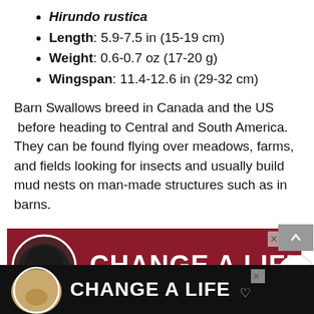Hirundo rustica
Length: 5.9-7.5 in (15-19 cm)
Weight: 0.6-0.7 oz (17-20 g)
Wingspan: 11.4-12.6 in (29-32 cm)
Barn Swallows breed in Canada and the US before heading to Central and South America. They can be found flying over meadows, farms, and fields looking for insects and usually build mud nests on man-made structures such as in barns.
[Figure (screenshot): Advertisement banner with dark red background showing a black dog and text 'CHANGE A LIFE' in white bold letters with a heart icon]
[Figure (screenshot): Bottom advertisement banner on black background showing a tan dog and text 'CHANGE A LIFE' in white bold letters with a heart icon]